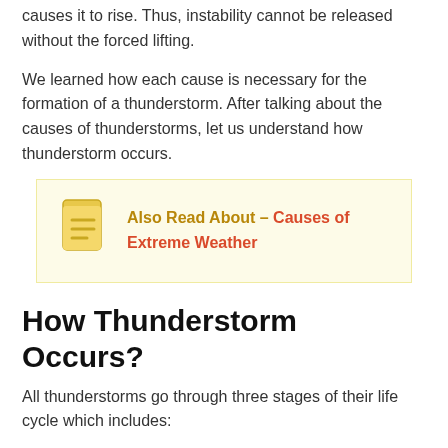causes it to rise. Thus, instability cannot be released without the forced lifting.
We learned how each cause is necessary for the formation of a thunderstorm. After talking about the causes of thunderstorms, let us understand how thunderstorm occurs.
Also Read About – Causes of Extreme Weather
How Thunderstorm Occurs?
All thunderstorms go through three stages of their life cycle which includes:
1. Developing stage
2. Mature stage
3. Dissipation stage